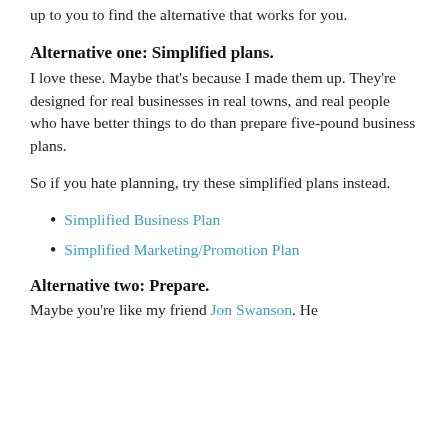up to you to find the alternative that works for you.
Alternative one: Simplified plans.
I love these. Maybe that's because I made them up. They're designed for real businesses in real towns, and real people who have better things to do than prepare five-pound business plans.
So if you hate planning, try these simplified plans instead.
Simplified Business Plan
Simplified Marketing/Promotion Plan
Alternative two: Prepare.
Maybe you're like my friend Jon Swanson. He